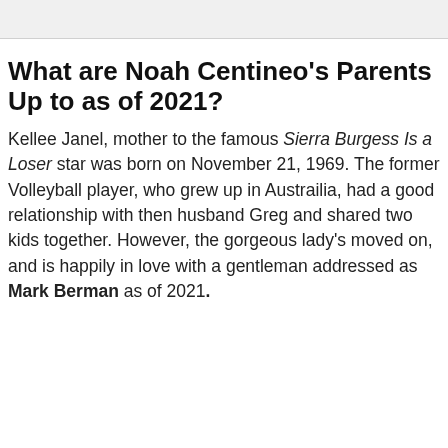What are Noah Centineo's Parents Up to as of 2021?
Kellee Janel, mother to the famous Sierra Burgess Is a Loser star was born on November 21, 1969. The former Volleyball player, who grew up in Austrailia, had a good relationship with then husband Greg and shared two kids together. However, the gorgeous lady's moved on, and is happily in love with a gentleman addressed as Mark Berman as of 2021.